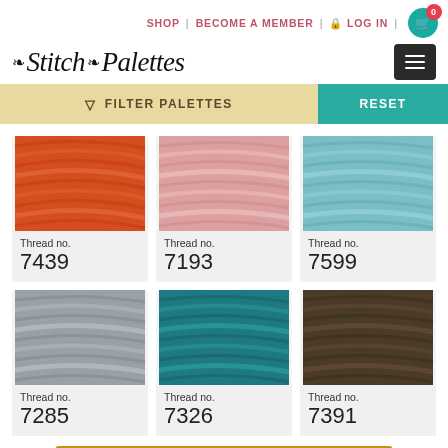SHOP | BECOME A MEMBER | LOG IN | 0
Stitch Palettes
FILTER PALETTES
RESET
[Figure (photo): Orange embroidery thread skein, Thread no. 7439]
[Figure (photo): Pink embroidery thread skein, Thread no. 7193]
[Figure (photo): Light teal embroidery thread skein, Thread no. 7599]
[Figure (photo): Gray embroidery thread skein, Thread no. 7285]
[Figure (photo): Dark teal embroidery thread skein, Thread no. 7326]
[Figure (photo): Brown embroidery thread skein, Thread no. 7391]
BUY THESE THREADS